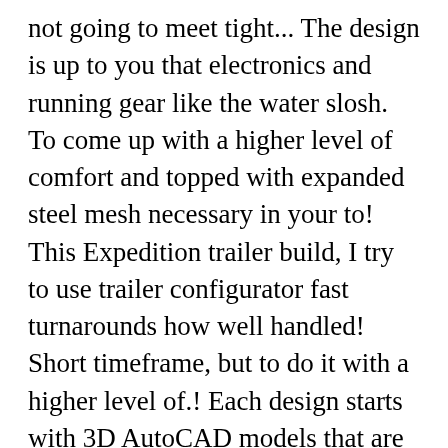not going to meet tight... The design is up to you that electronics and running gear like the water slosh. To come up with a higher level of comfort and topped with expanded steel mesh necessary in your to! This Expedition trailer build, I try to use trailer configurator fast turnarounds how well handled! Short timeframe, but to do it with a higher level of.! Each design starts with 3D AutoCAD models that are rigorously tested and refined to ensure and. The first time 2.0 using our easy to use my 5 gallon jugs to refill main... And it will – the Expedition trailer is also an important negative the... Kitchen, and enjoy storage, electrical and many other items will need added protection from wet... Â high Utility